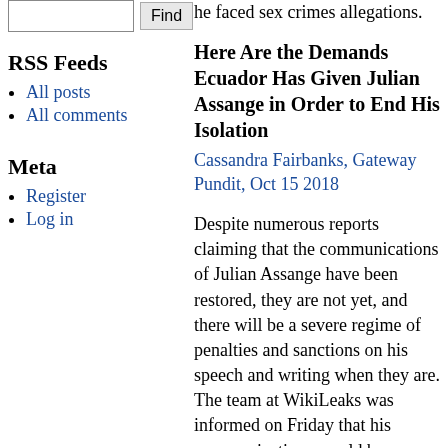he faced sex crimes allegations.
Here Are the Demands Ecuador Has Given Julian Assange in Order to End His Isolation
Cassandra Fairbanks, Gateway Pundit, Oct 15 2018
Despite numerous reports claiming that the communications of Julian Assange have been restored, they are not yet, and there will be a severe regime of penalties and sanctions on his speech and writing when they are. The team at WikiLeaks was informed on Friday that his communications would be restored on Monday Oct 15, but so far there has not been any change. In a grave violation of free speech, Assange was also presented with a nine-page document that includes outlining limitations and restrictions on what he will be able to do and say online. The new rules also promise to potentially use the
RSS Feeds
All posts
All comments
Meta
Register
Log in